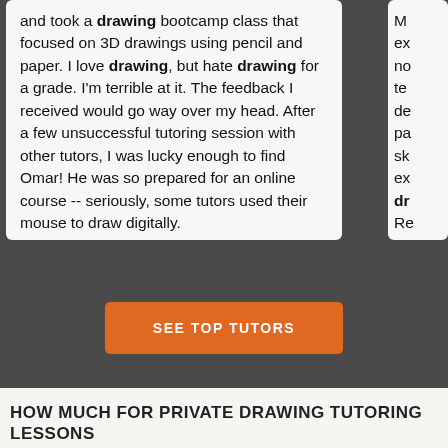and took a drawing bootcamp class that focused on 3D drawings using pencil and paper. I love drawing, but hate drawing for a grade. I'm terrible at it. The feedback I received would go way over my head. After a few unsuccessful tutoring session with other tutors, I was lucky enough to find Omar! He was so prepared for an online course -- seriously, some tutors used their mouse to draw digitally.
M... ex... no... te... de... pa... sk... ex... dr... Re...
SEE TOP TUTORS
HOW MUCH FOR PRIVATE DRAWING TUTORING LESSONS